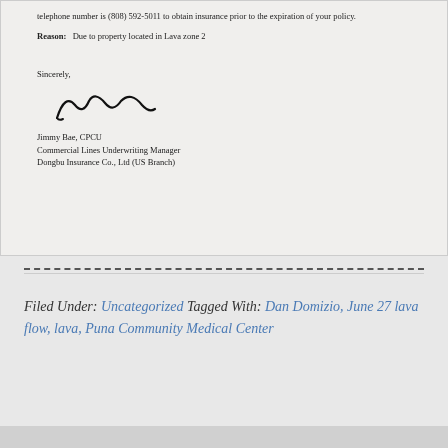telephone number is (808) 592-5011 to obtain insurance prior to the expiration of your policy.
Reason:   Due to property located in Lava zone 2
Sincerely,
[Figure (illustration): Handwritten signature of Jimmy Bae]
Jimmy Bae, CPCU
Commercial Lines Underwriting Manager
Dongbu Insurance Co., Ltd (US Branch)
Filed Under: Uncategorized Tagged With: Dan Domizio, June 27 lava flow, lava, Puna Community Medical Center